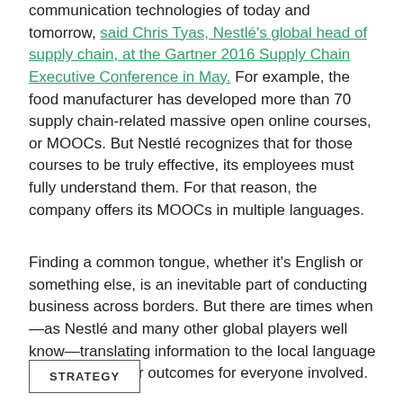communication technologies of today and tomorrow, said Chris Tyas, Nestlé's global head of supply chain, at the Gartner 2016 Supply Chain Executive Conference in May. For example, the food manufacturer has developed more than 70 supply chain-related massive open online courses, or MOOCs. But Nestlé recognizes that for those courses to be truly effective, its employees must fully understand them. For that reason, the company offers its MOOCs in multiple languages.
Finding a common tongue, whether it's English or something else, is an inevitable part of conducting business across borders. But there are times when—as Nestlé and many other global players well know—translating information to the local language will lead to better outcomes for everyone involved.
STRATEGY